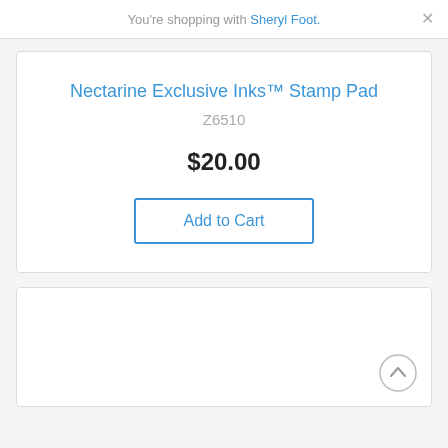You're shopping with Sheryl Foot.
Nectarine Exclusive Inks™ Stamp Pad
Z6510
$20.00
Add to Cart
[Figure (other): Empty product card placeholder at the bottom of the page with a scroll-to-top button in the lower right corner]